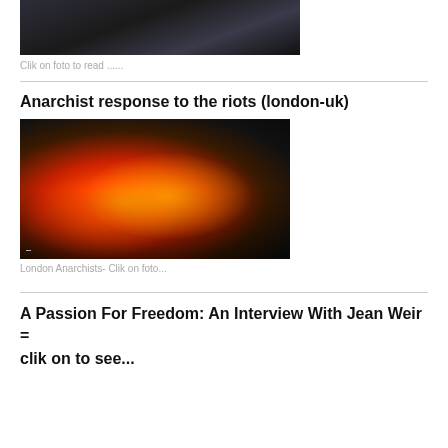[Figure (photo): Dark photograph, partially cropped at top]
Clik on foto to read ......
Anarchist response to the riots (london-uk)
[Figure (photo): Night photograph of a large fire engulfing a building on a city street, emergency vehicles visible, London riots]
London Anarchists- Clik on foto...
A Passion For Freedom: An Interview With Jean Weir = clik on to see...